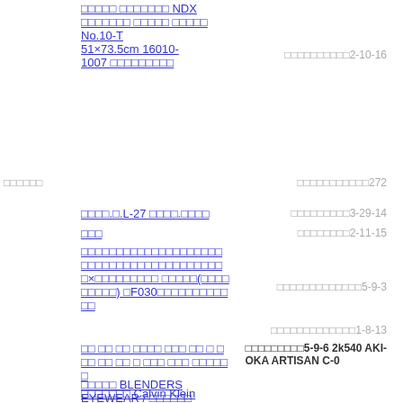□□□□□ □□□□□□□ NDX □□□□□□□ □□□□□ □□□□□ No.10-T 51×73.5cm 16010-1007 □□□□□□□□□   □□□□□□□□□□2-10-16
□□□□□□   □□□□□□□□□□□272
□□□□.□.L-27 □□□□.□□□□   □□□□□□□□□3-29-14
□□□   □□□□□□□□2-11-15
□□□□□□□□□□□□□□□□□□□□ □□□□□□□□□□□□□□□□□□□□ □×□□□□□□□□□ □□□□□(□□□□ □□□□□) □F030□□□□□□□□□□   □□□□□□□□□□□□□5-9-3
□□□□□□□□□□□□□1-8-13
□□ □□ □□ □□□□ □□□ □□ □ □ □□ □□ □□ □ □□□ □□□ □□□□□   □□□□□□□□□5-9-6 2k540 AKI-OKA ARTISAN C-0
□□□□□□□ Calvin Klein □□□□□□□□□□ □□□□□ CK18117S-002 □□□ □□□□□ UV□□□ 19□□□□□□ □※□□□□□□□□□□□□□   □□□□□□□□□15□11□
□□□□□ BLENDERS EYEWEAR / □□□□□□